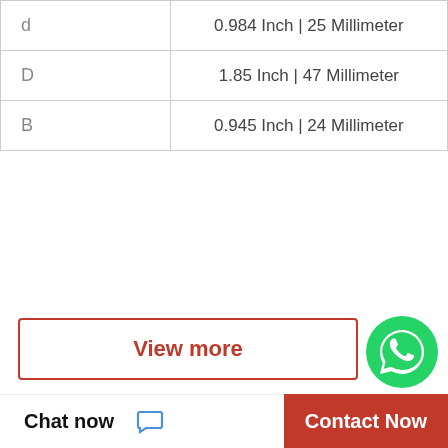|  |  |
| --- | --- |
| d | 0.984 Inch | 25 Millimeter |
| D | 1.85 Inch | 47 Millimeter |
| B | 0.945 Inch | 24 Millimeter |
View more
[Figure (logo): WhatsApp green circle logo with phone icon, labeled WhatsApp Online]
Company Profile
WhatsApp Online
IRA Hydraulic Pump Technical support and service
Worktime  9:00-18:00
Phone  86-510-85310167
Chat now
Contact Now